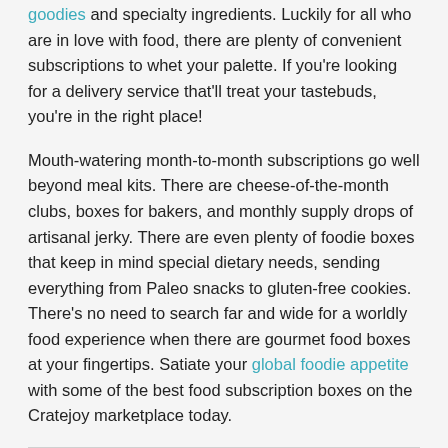goodies and specialty ingredients. Luckily for all who are in love with food, there are plenty of convenient subscriptions to whet your palette. If you're looking for a delivery service that'll treat your tastebuds, you're in the right place!
Mouth-watering month-to-month subscriptions go well beyond meal kits. There are cheese-of-the-month clubs, boxes for bakers, and monthly supply drops of artisanal jerky. There are even plenty of foodie boxes that keep in mind special dietary needs, sending everything from Paleo snacks to gluten-free cookies. There's no need to search far and wide for a worldly food experience when there are gourmet food boxes at your fingertips. Satiate your global foodie appetite with some of the best food subscription boxes on the Cratejoy marketplace today.
Cooking